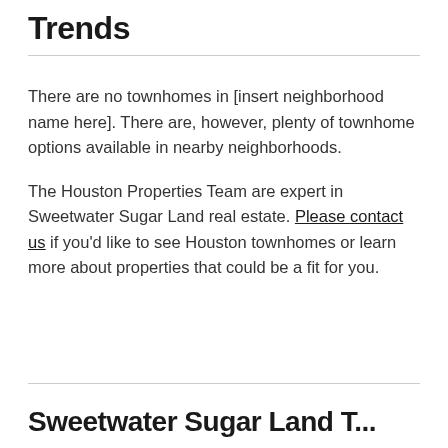Trends
There are no townhomes in [insert neighborhood name here]. There are, however, plenty of townhome options available in nearby neighborhoods.
The Houston Properties Team are expert in Sweetwater Sugar Land real estate. Please contact us if you'd like to see Houston townhomes or learn more about properties that could be a fit for you.
Sweetwater Sugar Land Town...